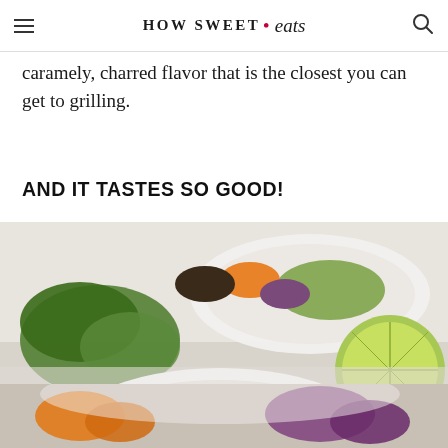HOW SWEET • eats
caramely, charred flavor that is the closest you can get to grilling.
AND IT TASTES SO GOOD!
[Figure (photo): Food photography showing bowls of colorful grain bowls with avocado, purple cabbage, carrots, cilantro, and a sliced lime on a white surface. A second bowl is partially visible in the foreground with charred meat and sesame seeds.]